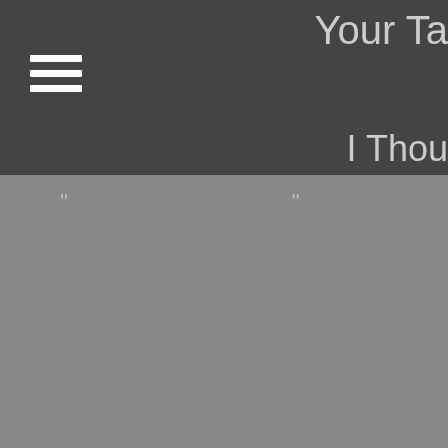Your Ta... | I Though Heard Train Whistl Blow
|  |  |  |
| --- | --- | --- |
| " | " | I Thou Heard Train Whistl Blow |
| Black Cat Biscuite | The Way It Is | Dr. Boo |
| " | " | Mean M an Ave |
| The Cash Box Kings | Black Toppin' | Gimm Some That |